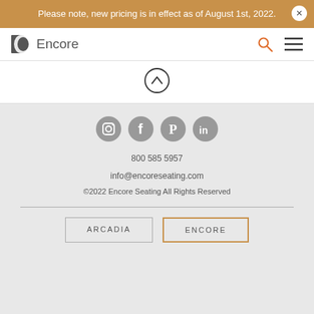Please note, new pricing is in effect as of August 1st, 2022.
[Figure (logo): Encore seating logo with crescent moon icon and text 'Encore']
[Figure (illustration): Scroll-up chevron circle button]
[Figure (illustration): Social media icons: Instagram, Facebook, Pinterest, LinkedIn]
800 585 5957
info@encoreseating.com
©2022 Encore Seating All Rights Reserved
ARCADIA
ENCORE